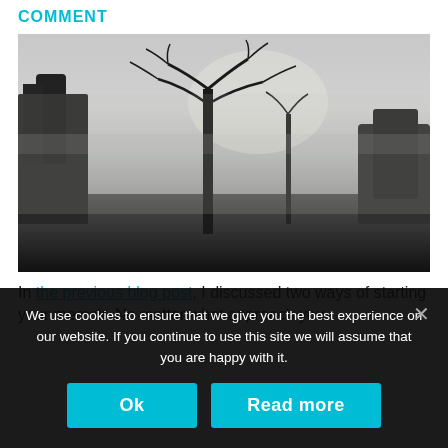COMMENT
[Figure (photo): Black and white foggy landscape photograph showing bare trees silhouetted against a misty sky, with dark ground in the foreground]
In the previous blog post, I discussed two ways of starting your memoir. No matter what approach you
We use cookies to ensure that we give you the best experience on our website. If you continue to use this site we will assume that you are happy with it.
Ok
Read more